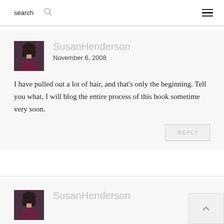search
SusanHenderson
November 6, 2008
I have pulled out a lot of hair, and that's only the beginning. Tell you what, I will blog the entire process of this book sometime very soon.
REPLY
SusanHenderson